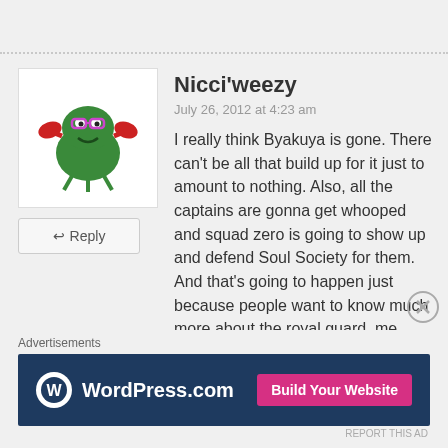[Figure (illustration): Avatar image of a cartoon green crab/frog character with red claws and pink glasses]
Nicci'weezy
July 26, 2012 at 4:23 am
I really think Byakuya is gone. There can't be all that build up for it just to amount to nothing. Also, all the captains are gonna get whooped and squad zero is going to show up and defend Soul Society for them. And that's going to happen just because people want to know much more about the royal guard, me included. Plus, wouldn't that be freakin awesome? Lol.
★ Like
Advertisements
[Figure (logo): WordPress.com advertisement banner with Build Your Website button]